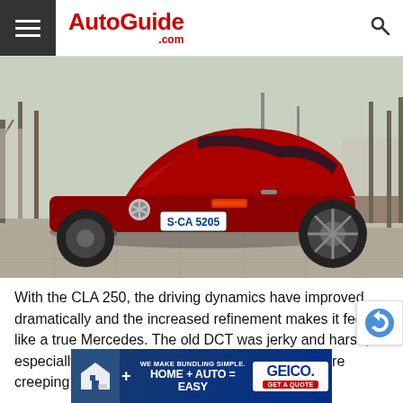AutoGuide.com
[Figure (photo): Rear three-quarter view of a red Mercedes-Benz CLA 250 sedan parked on a city street with bare trees in background. License plate reads S·CA 5205.]
With the CLA 250, the driving dynamics have improved dramatically and the increased refinement makes it feel like a true Mercedes. The old DCT was jerky and harsh, especially at low speeds. It would judder if you were creeping forward
[Figure (other): GEICO advertisement banner: WE MAKE BUNDLING SIMPLE. HOME + AUTO = EASY. GEICO. GET A QUOTE.]